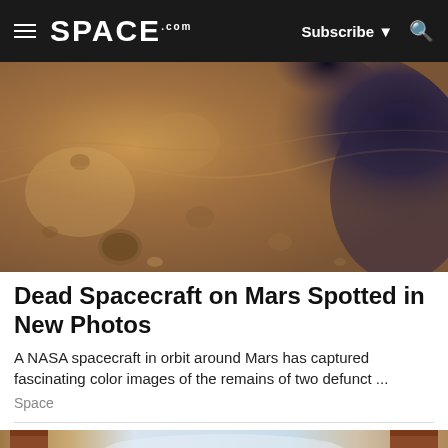SPACE.com — Subscribe — Search
[Figure (photo): Close-up orbital photograph of the Martian surface showing craters and a dark shadowed depression, taken by a NASA spacecraft in orbit around Mars. The terrain is reddish-brown with rocky textures and a large dark area in the upper right.]
Dead Spacecraft on Mars Spotted in New Photos
A NASA spacecraft in orbit around Mars has captured fascinating color images of the remains of two defunct ...
Space
[Figure (photo): Partial view of a second article image showing brick buildings against a sky background.]
[Figure (infographic): Advertisement banner for 'The Voyager Symphony Ray Incident' — A Study of Space, Time, and Man's Place Within It. Dark background with stylized planetary/space imagery and yellow title text.]